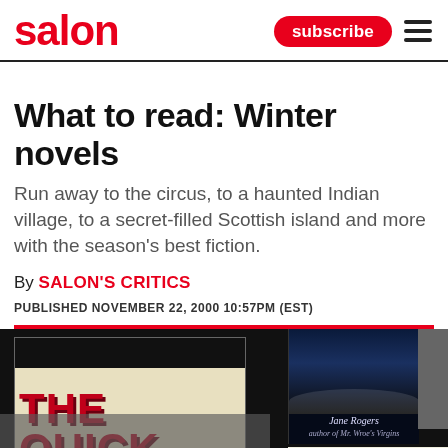salon | subscribe ☰
What to read: Winter novels
Run away to the circus, to a haunted Indian village, to a secret-filled Scottish island and more with the season's best fiction.
By SALON'S CRITICS
PUBLISHED NOVEMBER 22, 2000 10:57PM (EST)
[Figure (photo): Collage of book covers including 'The Quick', a Jane Rogers novel with a stormy ocean cover, and partial view of a 'monkey' titled book on a dark background.]